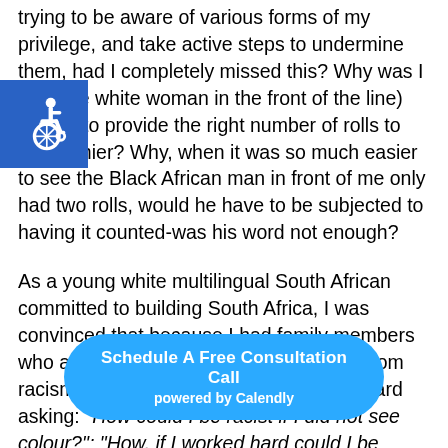trying to be aware of various forms of my privilege, and take active steps to undermine them, had I completely missed this? Why was I (and the white woman in the front of the line) trusted to provide the right number of rolls to the cashier? Why, when it was so much easier to see the Black African man in front of me only had two rolls, would he have to be subjected to having it counted-was his word not enough?
[Figure (illustration): Wheelchair accessibility icon: white wheelchair symbol on blue square background]
As a young white multilingual South African committed to building South Africa, I was convinced that because I had family members who are Black and Brown I was exempt from racism and white privilege. I was often heard asking: "How could I be racist if I did not see colour?"; "How, if I worked hard could I be accused of benefitting from apartheid?" or the classic: [obscured by button] (read: my racism is not as obvious as theirs). As I
[Figure (other): Blue pill-shaped button overlay with text 'Schedule A Free Consultation Call' and 'powered by Calendly']